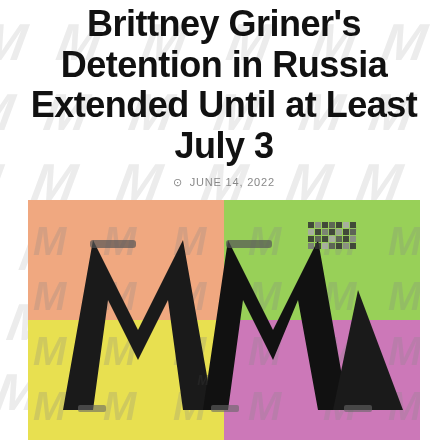Brittney Griner's Detention in Russia Extended Until at Least July 3
JUNE 14, 2022
[Figure (illustration): A stylized 'M' logo rendered in black, displayed over a colorful pop-art style background with four quadrants in orange, green, yellow, and pink. The image also has a repeating watermark pattern of italic 'M' letters in gray across the entire page background.]